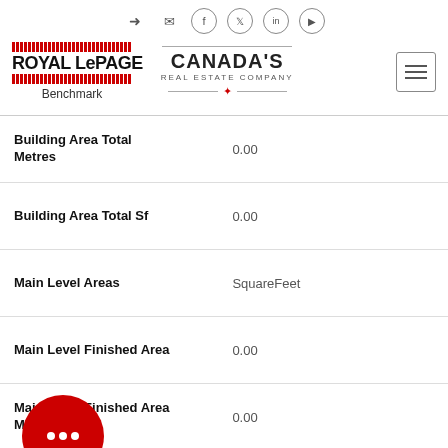Royal LePage Benchmark — Canada's Real Estate Company
| Field | Value |
| --- | --- |
| Building Area Total Metres | 0.00 |
| Building Area Total Sf | 0.00 |
| Main Level Areas | SquareFeet |
| Main Level Finished Area | 0.00 |
| Main Level Finished Area Metres | 0.00 |
| Main Level Finished Area Sf | 0.00 |